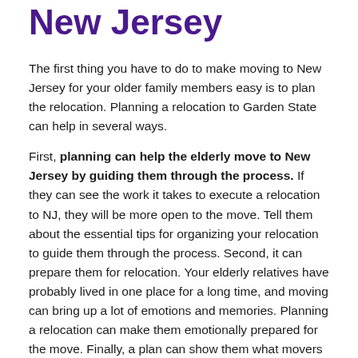New Jersey
The first thing you have to do to make moving to New Jersey for your older family members easy is to plan the relocation. Planning a relocation to Garden State can help in several ways.
First, planning can help the elderly move to New Jersey by guiding them through the process. If they can see the work it takes to execute a relocation to NJ, they will be more open to the move. Tell them about the essential tips for organizing your relocation to guide them through the process. Second, it can prepare them for relocation. Your elderly relatives have probably lived in one place for a long time, and moving can bring up a lot of emotions and memories. Planning a relocation can make them emotionally prepared for the move. Finally, a plan can show them what movers can do for them. This will make them more open to finding movers with the help